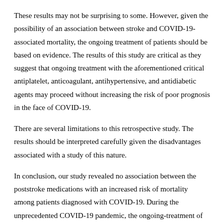These results may not be surprising to some. However, given the possibility of an association between stroke and COVID-19-associated mortality, the ongoing treatment of patients should be based on evidence. The results of this study are critical as they suggest that ongoing treatment with the aforementioned critical antiplatelet, anticoagulant, antihypertensive, and antidiabetic agents may proceed without increasing the risk of poor prognosis in the face of COVID-19.
There are several limitations to this retrospective study. The results should be interpreted carefully given the disadvantages associated with a study of this nature.
In conclusion, our study revealed no association between the poststroke medications with an increased risk of mortality among patients diagnosed with COVID-19. During the unprecedented COVID-19 pandemic, the ongoing-treatment of poststroke patients should be provided adequately and continuously.
Financial support and sponsorship
Nil.
Conflicts of interest